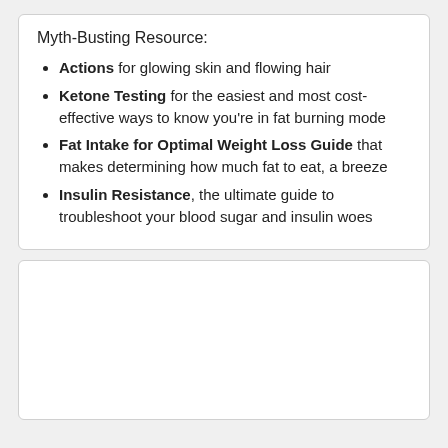Myth-Busting Resource:
Actions for glowing skin and flowing hair
Ketone Testing for the easiest and most cost-effective ways to know you’re in fat burning mode
Fat Intake for Optimal Weight Loss Guide that makes determining how much fat to eat, a breeze
Insulin Resistance, the ultimate guide to troubleshoot your blood sugar and insulin woes